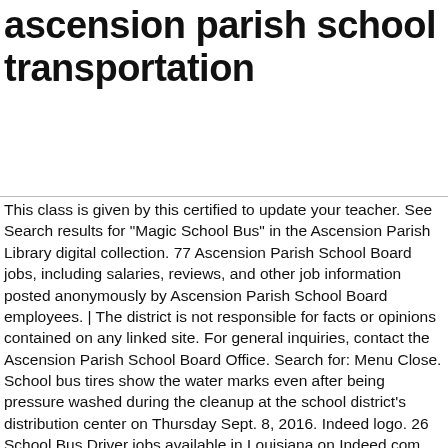ascension parish school transportation
This class is given by this certified to update your teacher. See Search results for "Magic School Bus" in the Ascension Parish Library digital collection. 77 Ascension Parish School Board jobs, including salaries, reviews, and other job information posted anonymously by Ascension Parish School Board employees. | The district is not responsible for facts or opinions contained on any linked site. For general inquiries, contact the Ascension Parish School Board Office. Search for: Menu Close. School bus tires show the water marks even after being pressure washed during the cleanup at the school district's distribution center on Thursday Sept. 8, 2016. Indeed logo. 26 School Bus Driver jobs available in Louisiana on Indeed.com. Reviews from Ascension parish School Board employees about working as a Bus Driver at Ascension parish School Board. I want to do my part to stay ahead of this growth and maintain proportionate student-teacher ratios, maintain safe transportation, keep students out of t-buildings, enhance school safety, increase the quality of child nutrition programs and provide enrichment through elective, clubs and athletics. Not Now. Click here for the latest information and resources. This website is maintained by the Ascension